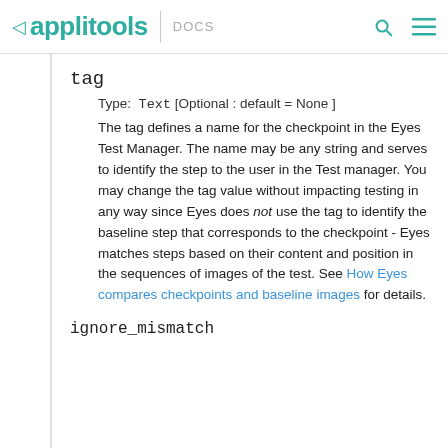applitools DOCS
tag
Type: Text [Optional : default = None ]
The tag defines a name for the checkpoint in the Eyes Test Manager. The name may be any string and serves to identify the step to the user in the Test manager. You may change the tag value without impacting testing in any way since Eyes does not use the tag to identify the baseline step that corresponds to the checkpoint - Eyes matches steps based on their content and position in the sequences of images of the test. See How Eyes compares checkpoints and baseline images for details.
ignore_mismatch